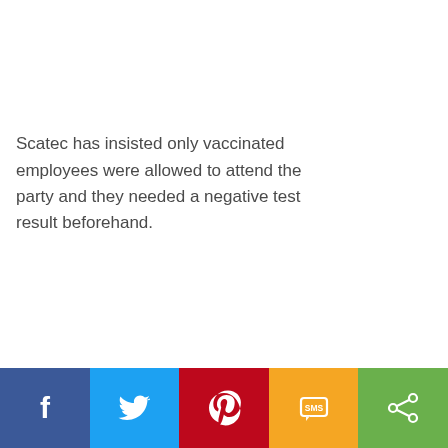Scatec has insisted only vaccinated employees were allowed to attend the party and they needed a negative test result beforehand.
[Figure (infographic): Social sharing bar with five buttons: Facebook (dark blue, f icon), Twitter (light blue, bird icon), Pinterest (red, P icon), SMS (yellow/gold, SMS icon), Share (green, share icon)]